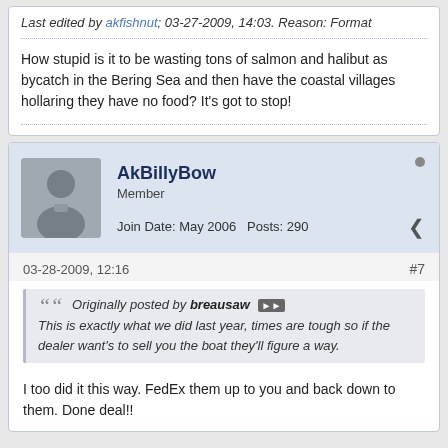Last edited by akfishnut; 03-27-2009, 14:03. Reason: Format
How stupid is it to be wasting tons of salmon and halibut as bycatch in the Bering Sea and then have the coastal villages hollaring they have no food? It's got to stop!
AkBillyBow
Member
Join Date: May 2006   Posts: 290
03-28-2009, 12:16   #7
Originally posted by breausaw
This is exactly what we did last year, times are tough so if the dealer want's to sell you the boat they'll figure a way.
I too did it this way. FedEx them up to you and back down to them. Done deal!!